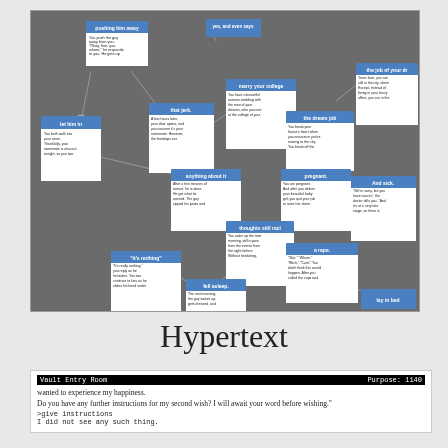[Figure (flowchart): Interactive hypertext fiction node graph showing interconnected story nodes on a dark gray background. Nodes include: 'pushing him away', 'let him in', 'that jerk', 'marry your college', 'the dream job', 'the job of your dr', 'anything about it', 'pregnant', 'And sick.', 'thoughts still raci', 'it\'s nothing', 'fell asleep', 'a rape', 'lay in bed'. Nodes are connected by gray arrows forming a branching narrative structure.]
Hypertext
Vault Entry Room                    Purpose: 1140
wanted to experience my happiness.

Do you have any further instructions for my second wish? I will await your word before wishing."

>give instructions
I did not see any such thing.